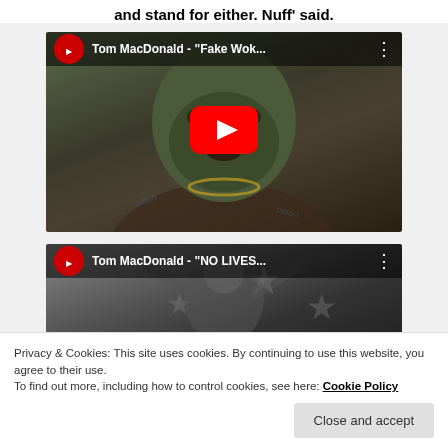and stand for either. Nuff' said.
[Figure (screenshot): YouTube video thumbnail for Tom MacDonald - "Fake Wok..." showing a tattooed man wearing a green balaclava with YouTube play button overlay]
[Figure (screenshot): YouTube video thumbnail for Tom MacDonald - "NO LIVES..." showing a man with hands raised with YouTube top bar]
Privacy & Cookies: This site uses cookies. By continuing to use this website, you agree to their use.
To find out more, including how to control cookies, see here: Cookie Policy
Close and accept